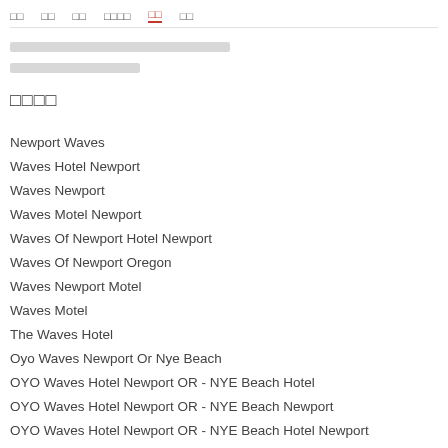□□   □□   □□   □□□□   □□   □□
□□□□□□□□□□□□□□□□□□□□□□□□□□
□□□□□□□□□□□□□□□
□□□□
Newport Waves
Waves Hotel Newport
Waves Newport
Waves Motel Newport
Waves Of Newport Hotel Newport
Waves Of Newport Oregon
Waves Newport Motel
Waves Motel
The Waves Hotel
Oyo Waves Newport Or Nye Beach
OYO Waves Hotel Newport OR - NYE Beach Hotel
OYO Waves Hotel Newport OR - NYE Beach Newport
OYO Waves Hotel Newport OR - NYE Beach Hotel Newport